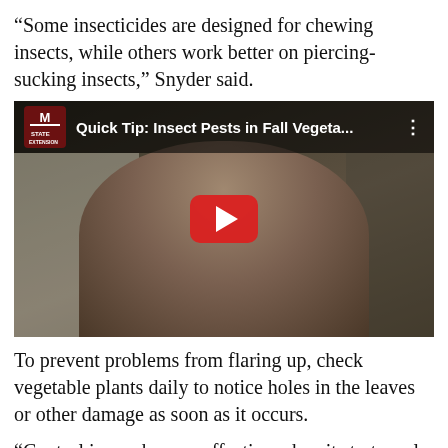“Some insecticides are designed for chewing insects, while others work better on piercing-sucking insects,” Snyder said.
[Figure (screenshot): YouTube video thumbnail showing a man with glasses and a grey beard sitting in an office. The video title reads 'Quick Tip: Insect Pests in Fall Vegeta...' with the Mississippi State University Extension logo in the top left corner. A red YouTube play button is centered on the image.]
To prevent problems from flaring up, check vegetable plants daily to notice holes in the leaves or other damage as soon as it occurs.
“Control is much more effective when it starts early